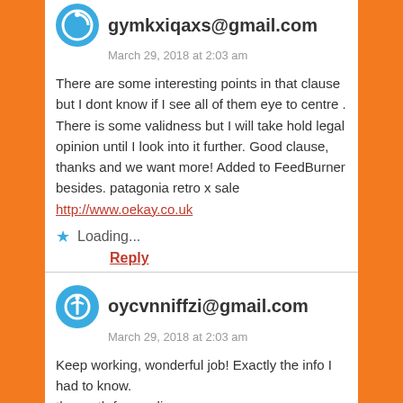gymkxiqaxs@gmail.com
March 29, 2018 at 2:03 am
There are some interesting points in that clause but I dont know if I see all of them eye to centre . There is some validness but I will take hold legal opinion until I look into it further. Good clause, thanks and we want more! Added to FeedBurner besides. patagonia retro x sale http://www.oekay.co.uk
Loading...
Reply
oycvnniffzi@gmail.com
March 29, 2018 at 2:03 am
Keep working, wonderful job! Exactly the info I had to know. the north face online http://northface.unilorites.com